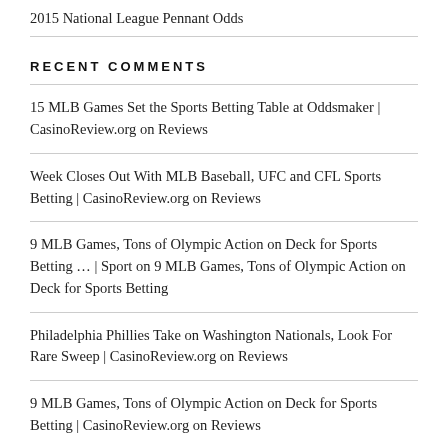2015 National League Pennant Odds
RECENT COMMENTS
15 MLB Games Set the Sports Betting Table at Oddsmaker | CasinoReview.org on Reviews
Week Closes Out With MLB Baseball, UFC and CFL Sports Betting | CasinoReview.org on Reviews
9 MLB Games, Tons of Olympic Action on Deck for Sports Betting … | Sport on 9 MLB Games, Tons of Olympic Action on Deck for Sports Betting
Philadelphia Phillies Take on Washington Nationals, Look For Rare Sweep | CasinoReview.org on Reviews
9 MLB Games, Tons of Olympic Action on Deck for Sports Betting | CasinoReview.org on Reviews